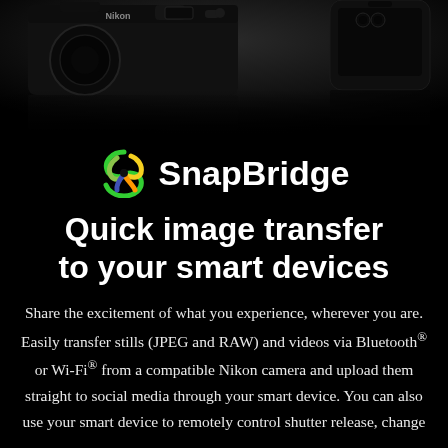[Figure (photo): Dark background with Nikon camera on left and smartphone on right, photographed on a black reflective surface]
[Figure (logo): SnapBridge logo: colorful S-shaped icon in green, yellow, orange, and blue/purple alongside the text SnapBridge in white bold font]
Quick image transfer to your smart devices
Share the excitement of what you experience, wherever you are. Easily transfer stills (JPEG and RAW) and videos via Bluetooth® or Wi-Fi® from a compatible Nikon camera and upload them straight to social media through your smart device. You can also use your smart device to remotely control shutter release, change